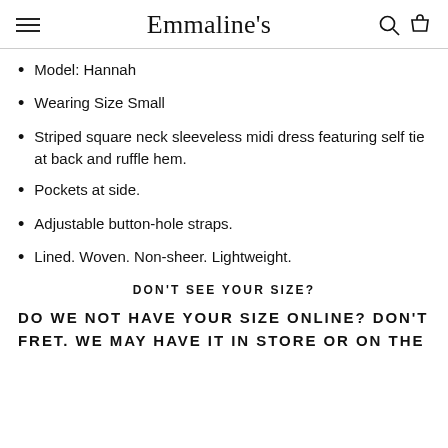Emmaline's
Model: Hannah
Wearing Size Small
Striped square neck sleeveless midi dress featuring self tie at back and ruffle hem.
Pockets at side.
Adjustable button-hole straps.
Lined. Woven. Non-sheer. Lightweight.
DON'T SEE YOUR SIZE?
DO WE NOT HAVE YOUR SIZE ONLINE? DON'T FRET. WE MAY HAVE IT IN STORE OR ON THE